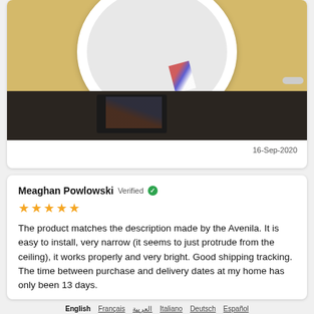[Figure (photo): Photo of a round white LED ceiling light panel placed on a yellowish surface, with electrical wires visible below it, and dark cluttered items at the bottom of the image]
16-Sep-2020
Meaghan Powlowski Verified ✓
★★★★★
The product matches the description made by the Avenila. It is easy to install, very narrow (it seems to just protrude from the ceiling), it works properly and very bright. Good shipping tracking. The time between purchase and delivery dates at my home has only been 13 days.
English  Français  العربية  Italiano  Deutsch  Español